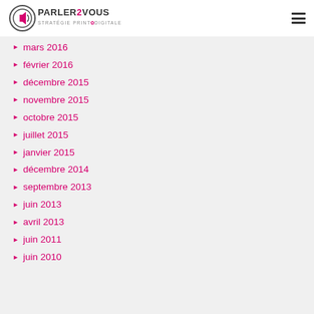PARLER2VOUS — STRATÉGIE PRINT & DIGITALE
mars 2016
février 2016
décembre 2015
novembre 2015
octobre 2015
juillet 2015
janvier 2015
décembre 2014
septembre 2013
juin 2013
avril 2013
juin 2011
juin 2010